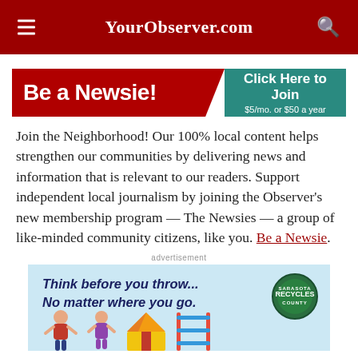YourObserver.com
[Figure (infographic): Be a Newsie! banner with red left panel and teal right panel reading 'Click Here to Join $5/mo. or $50 a year']
Join the Neighborhood! Our 100% local content helps strengthen our communities by delivering news and information that is relevant to our readers. Support independent local journalism by joining the Observer's new membership program — The Newsies — a group of like-minded community citizens, like you. Be a Newsie.
advertisement
[Figure (infographic): Sarasota County Recycles advertisement: 'Think before you throw... No matter where you go.' with recycling badge and illustrated characters]